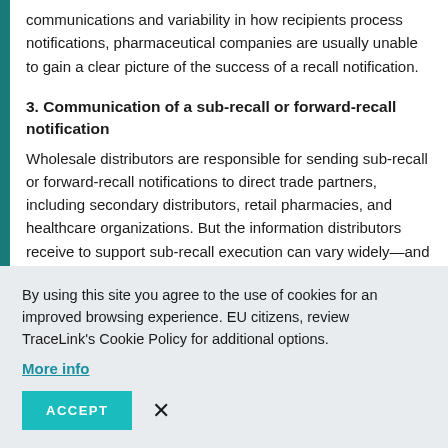communications and variability in how recipients process notifications, pharmaceutical companies are usually unable to gain a clear picture of the success of a recall notification.
3. Communication of a sub-recall or forward-recall notification
Wholesale distributors are responsible for sending sub-recall or forward-recall notifications to direct trade partners, including secondary distributors, retail pharmacies, and healthcare organizations. But the information distributors receive to support sub-recall execution can vary widely—and information found in recall notifications is currently not tied to
By using this site you agree to the use of cookies for an improved browsing experience. EU citizens, review TraceLink's Cookie Policy for additional options. More info